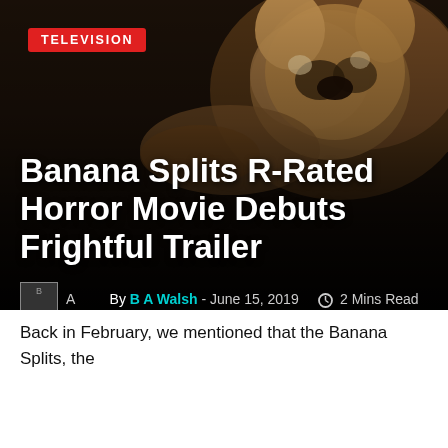[Figure (photo): Dark background hero image showing an animated animal character (Banana Splits mascot) against a dark/brown background]
TELEVISION
Banana Splits R-Rated Horror Movie Debuts Frightful Trailer
By B A Walsh - June 15, 2019  2 Mins Read
Back in February, we mentioned that the Banana Splits, the